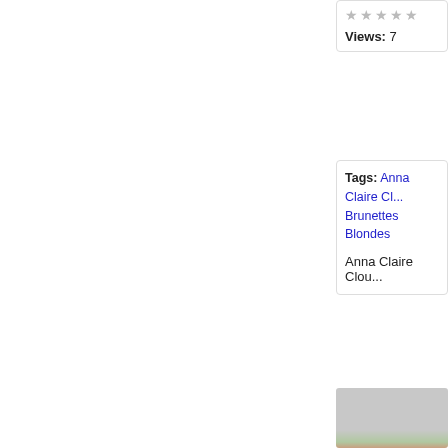★ ★ ★ ★ ★
Views: 7
Tags: Anna Claire Cl... Brunettes Blondes
Anna Claire Clou...
[Figure (photo): Partial photo of a person against a gray wall background with a small green plant visible at bottom]